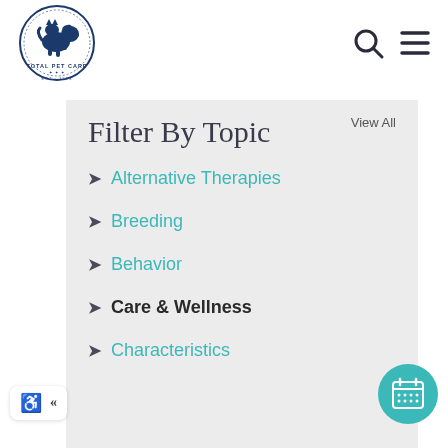[Figure (logo): Total Pet Care circular logo with dog and cat silhouette, navy blue border, text 'TOTAL PET CARE EST. 1993']
[Figure (other): Search icon (magnifying glass) and hamburger menu icon in top right navigation]
Filter By Topic
View All
Alternative Therapies
Breeding
Behavior
Care & Wellness
Characteristics
[Figure (other): Accessibility widget with wheelchair icon and left-pointing double chevron]
[Figure (other): Teal circular calendar/scheduler button in bottom right corner]